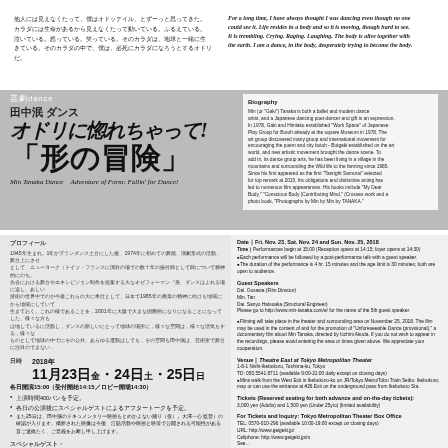他人には見えなくたって、僕はオドッテイル、とずーっと思ってきた。カラダには生命があるから見えなくたって動いている。ふるえている。泣いている。怒っている。笑っている。そのカラダは、地球と一緒に生きている。そのカラダの中で、僕は、必死にカラダになろうとするオドリだ。
For a long time, I have always thought I was dancing even though no one could see it. Life resides in a body and so it is moving, though hard to see. It is trembling. Crying. Raging. Laughing. The body is alive together with the earth. I am a dance, in the body, desperately trying to become the body.
芸劇dance 田中泯 ダンス オドリに惚れちゃって！「形の冒険」
Min Tanaka Dance　Adventure of Form: Fallin' for Dance!
Biography
プロフィール
日時 2018年 11月23日金・24日土・25日日
各日開演15:00（受付開始14:15／ロビー開場14:30）
上演時間400バンを予定。
各日の公演後にスペシャルゲストによるアフタートークを予定。
また25日は、田中泯のドキュメンタリー映画もとめかよない踊り（仮）」大澤一心 監督）の確認が入ります。撮影された映像は今後、江筋活動や映画と映等で公開される可能性がある旨ご連絡たく、ご意義をお断し申し上げます。
スペシャルゲスト・アフタートーク
23日 大室一心（映画監督）
24日 ヴィヴィアン佐藤（美術家）
25日 松岡正剛（編集工学者）
●アフタートークは50分を予定。
※本日は確定定員。田中泯ウェブサイトにて発表。<http://www.min-tanaka.com/>
会場 東京芸術劇場 シアターイースト
Date｜Fri. Nov. 23, Sat. Nov. 24 and Sun. Nov. 25, 2018
Time｜Performances begin at 15:00 (Reception opens at 14:15; foyer opens at 14:30)
Each performance will be followed by a post-performance talk with a guest speaker.
The duration of the performance is 4 hr. 15 minutes and the age limit is 30 minutes; both are open to audience.
Guest Speakers
Dai. Oosawa (Film Director)
Min. Tan
Dai. Sanyo Hatsuaka (Structural Engineer)
Please go to http://www.min-tanaka.com/e/ for the name of the 5th guest speaker.
Filming will take place in the theater and surrounding area on November 25, 2018. The film may be used in the content of and for the promotion of "Unforeseeable Dance (provisional)," a documentary film about Min Tanaka, directed by Icchini Akuda. If you do not wish to appear in the recordings, please avoid entering the area or times given above. We appreciate your cooperation.
Venue｜Theatre East at Tokyo Metropolitan Theater
1-8-1 Nishi-Ikebukuro, Toshima-ku, Tokyo
TD: 050.5541.8711 (available 9:00-21:00 daily except on closing days)
●Mins walk from the West Exit in Ikebukuro-ku on JR/Tokyo Metro/Tobu Train Seibu: Ikebukuro; may or can use the entrance at #26 Exit on the underground pass from Ikebukuro Sta.
Tickets (Reserved seating for both advance and on-the-day tickets):
3,000 yen (Adults) and 1,500 yen (Under 25y/o) (limited availability)
For Tickets and Inquiry: Tokyo Metropolitan Theater Box Office
TEL: 0570-010-296 (available 10:00-19:00 except on closing days)
URL: http://www.geigeki.jp/
Cellphone: http://www.geigeki.jp/m
See…
Directed and Performed by Min Tanaka
Stage Management by Takashi Hori HIRE CHILD WORKS
Lighting by Ako